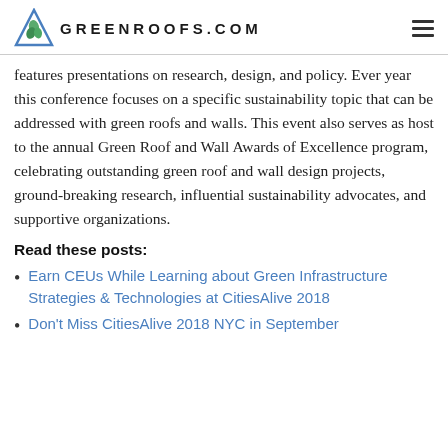GREENROOFS.COM
features presentations on research, design, and policy. Ever year this conference focuses on a specific sustainability topic that can be addressed with green roofs and walls. This event also serves as host to the annual Green Roof and Wall Awards of Excellence program, celebrating outstanding green roof and wall design projects, ground-breaking research, influential sustainability advocates, and supportive organizations.
Read these posts:
Earn CEUs While Learning about Green Infrastructure Strategies & Technologies at CitiesAlive 2018
Don't Miss CitiesAlive 2018 NYC in September